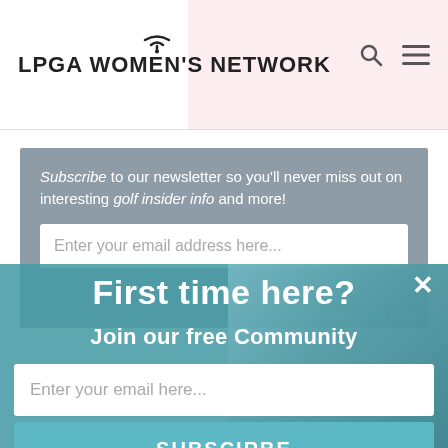[Figure (screenshot): LPGA Women's Network website header with logo showing wifi symbol above text, search icon and hamburger menu icon on the right, pink background accent on the right side]
Subscribe to our newsletter so you'll never miss out on interesting golf insider info and more!
Enter your email address here...
[Figure (logo): OptinMonster badge with green monster icon]
First time here?
Join our free Community
Enter your email here...
SUBSCIRBE